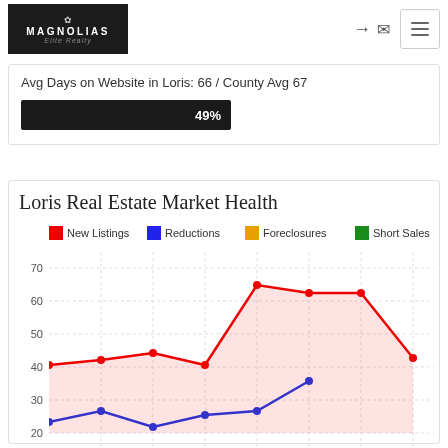[Figure (logo): Magnolias Elite Realty logo on dark background]
Avg Days on Website in Loris: 66 / County Avg 67
[Figure (infographic): Progress bar showing 49%]
Loris Real Estate Market Health
[Figure (line-chart): Loris Real Estate Market Health]